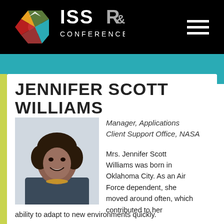ISS R&D CONFERENCE
JENNIFER SCOTT WILLIAMS
[Figure (photo): Professional headshot of Jennifer Scott Williams, a woman smiling, wearing a blazer with a necklace]
Manager, Applications Client Support Office, NASA
Mrs. Jennifer Scott Williams was born in Oklahoma City. As an Air Force dependent, she moved around often, which contributed to her ability to adapt to new environments quickly.